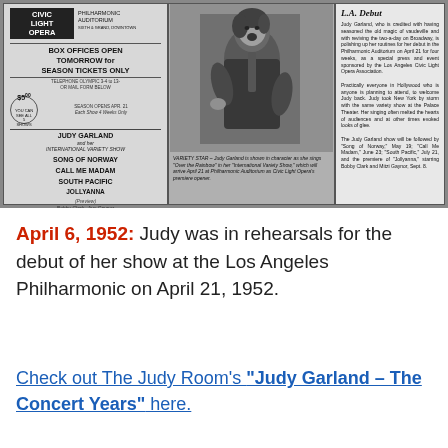[Figure (photo): Newspaper clipping showing: left panel - Civic Light Opera advertisement for Judy Garland International Variety Show, Song of Norway, Call Me Madam, South Pacific, Jollyanna at Philharmonic Auditorium; center panel - black and white photo of Judy Garland singing; right panel - newspaper article titled 'L.A. Debut' about Judy Garland's appearance at the Philharmonic Auditorium. Caption below photo reads: VARIETY STAR - Judy Garland is shown in character as she sings 'Over the Rainbow' in her 'International Variety Show,' which will arrive April 21 at Philharmonic Auditorium as Civic Light Opera's premiere opener.]
April 6, 1952: Judy was in rehearsals for the debut of her show at the Los Angeles Philharmonic on April 21, 1952.
Check out The Judy Room's "Judy Garland – The Concert Years" here.